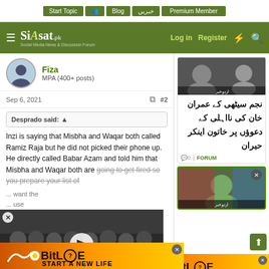Start Topic | Blog | خبریں | Premium Member
Siasat.pk — Social Media News & Discussion Forum | Log in | Register
Fiza
MPA (400+ posts)
Sep 6, 2021  #2
Desprado said: ↑
Inzi is saying that Misbha and Waqar both called Ramiz Raja but he did not picked their phone up. He directly called Babar Azam and told him that Misbha and Waqar both are going to get fired so you prepare your list of ... want the ... use
[Figure (screenshot): Video thumbnail showing a crowd of masked people queuing, with a white play button overlay]
[Figure (screenshot): Sidebar card: TV screenshot of two people in discussion with Urdu text: نجم سیٹھی کے عمران خان کی نااہلی کے دعوؤں پر خاتون اینکر حیران — 0 comments | FORUM]
[Figure (screenshot): Sidebar card 2: TV screenshot with colourful background]
[Figure (screenshot): BitLife advertisement banner: START A NEW LIFE]